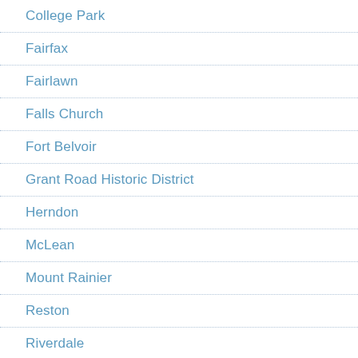College Park
Fairfax
Fairlawn
Falls Church
Fort Belvoir
Grant Road Historic District
Herndon
McLean
Mount Rainier
Reston
Riverdale
Sterling